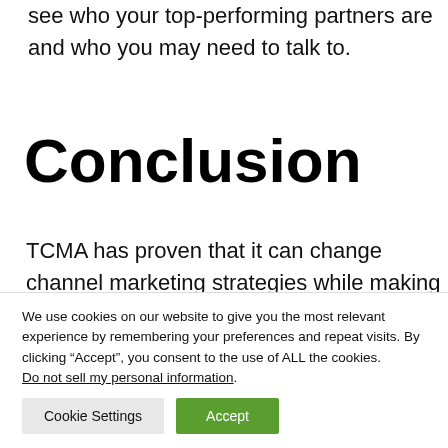see who your top-performing partners are and who you may need to talk to.
Conclusion
TCMA has proven that it can change channel marketing strategies while making marketing easier for both partners and vendors. Vendors benefit from the visibility
We use cookies on our website to give you the most relevant experience by remembering your preferences and repeat visits. By clicking “Accept”, you consent to the use of ALL the cookies. Do not sell my personal information.